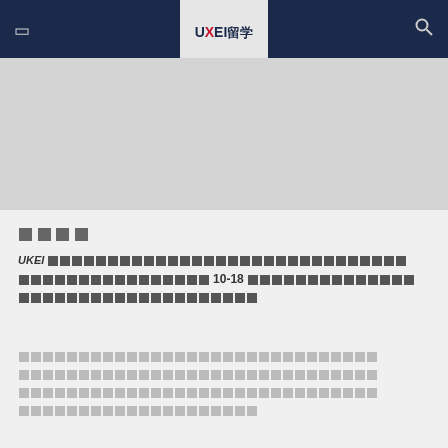UKEI留学 — navigation header with menu and search icons
[Figure (photo): Gray placeholder image area below the navigation header]
□□□□
UKEI □□□□□□□□□□□□□□□□□□□□□□□□□□□□□□□□□□□□□□□□□□□□ □□□□□□□□□□□□□□□□ 10-18 □□□□□□□□□□□□□□□□□□□□□□□□□□□□□□□□□□□□□□
□□□□□□□□□□□□□□□□□□□□□□□□□□□□□□□□□□□□□□□□□□□□□□□□□□□□□□□□□□□□□□□□□□□□□□□□□□□□□□□□□□□□□□□□□□□□□□□□□□□□□□□□□□□□□□□□□□□□□□□□□□□□□□□□□□□□□□□□□□□□□□□□□□□□□□□□□□□□□□□□□□□□□□□□□□□□□□□□□□□□